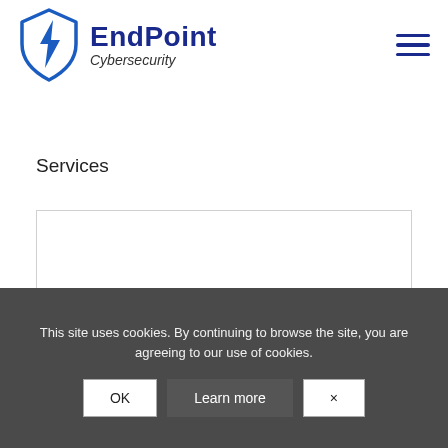[Figure (logo): EndPoint Cybersecurity logo: blue shield with lightning bolt icon and bold dark blue text 'EndPoint' with italic 'Cybersecurity' below]
[Figure (other): Hamburger menu icon: three horizontal dark blue lines]
Services
[Figure (other): White bordered content area, empty]
This site uses cookies. By continuing to browse the site, you are agreeing to our use of cookies.
OK  Learn more  ×